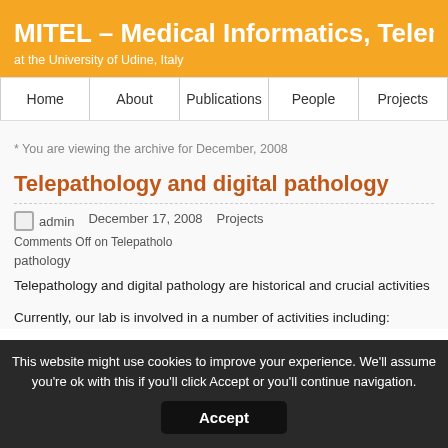MITEL – Medical Informatics, Teleme… at the University of Udine, Italy
Home | About | Publications | People | Projects
* You are viewing the archive for December, 2008
Telepathology and digital pathology
admin   December 17, 2008   Projects   Comments Off on Telepathology and digital pathology
Telepathology and digital pathology are historical and crucial activities of MITEL
Currently, our lab is involved in a number of activities including:
This website might use cookies to improve your experience. We'll assume you're ok with this if you'll click Accept or you'll continue navigation. Accept